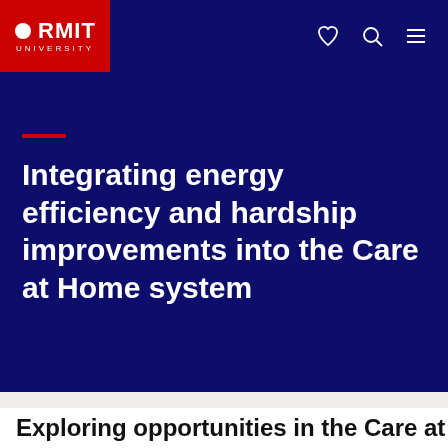[Figure (logo): RMIT University logo — white circle/dot and bold white RMIT text on red background, with UNIVERSITY in small white letters below]
RMIT University navigation bar with heart, search, and menu icons
Integrating energy efficiency and hardship improvements into the Care at Home system
Menu
Exploring opportunities in the Care at